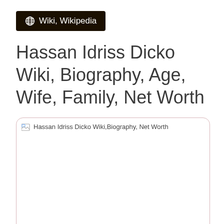Wiki, Wikipedia
Hassan Idriss Dicko Wiki, Biography, Age, Wife, Family, Net Worth
[Figure (photo): Broken image placeholder for Hassan Idriss Dicko Wiki, Biography, Net Worth]